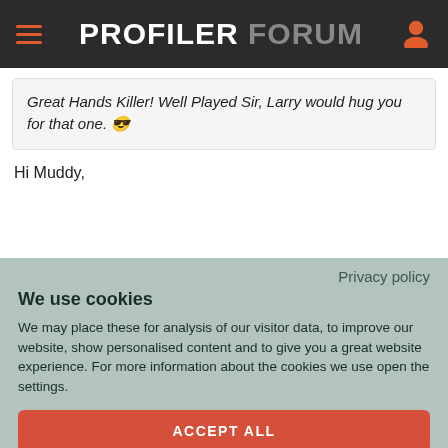PROFILER FORUM
Great Hands Killer! Well Played Sir, Larry would hug you for that one. 😎
Hi Muddy,
Privacy policy
We use cookies
We may place these for analysis of our visitor data, to improve our website, show personalised content and to give you a great website experience. For more information about the cookies we use open the settings.
ACCEPT ALL
DENY
NO, ADJUST